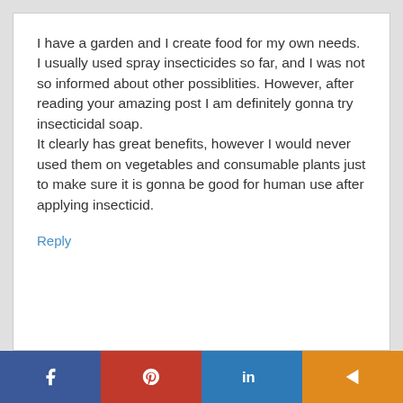I have a garden and I create food for my own needs. I usually used spray insecticides so far, and I was not so informed about other possiblities. However, after reading your amazing post I am definitely gonna try insecticidal soap. It clearly has great benefits, however I would never used them on vegetables and consumable plants just to make sure it is gonna be good for human use after applying insecticid.
Reply